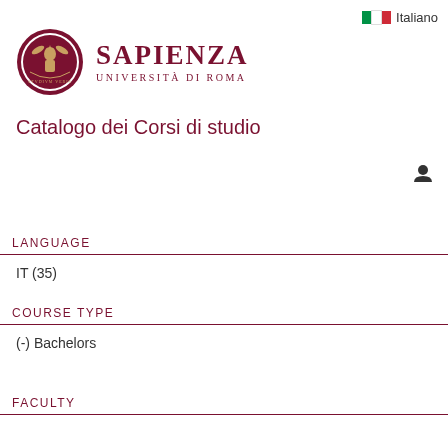[Figure (logo): Sapienza Università di Roma logo — circular emblem with dark red border and university seal, alongside the text SAPIENZA UNIVERSITÀ DI ROMA]
Italiano
Catalogo dei Corsi di studio
LANGUAGE
IT (35)
COURSE TYPE
(-) Bachelors
FACULTY